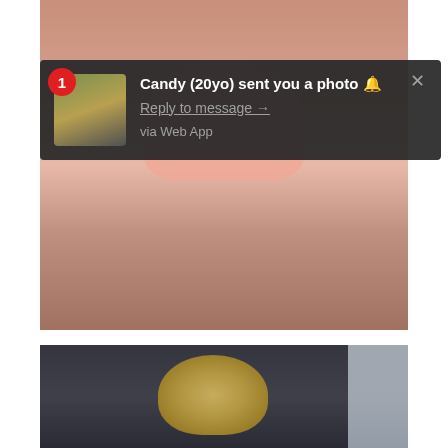[Figure (screenshot): A screenshot showing a web push notification overlay on top of a photo. The notification reads 'Candy (20yo) sent you a photo' with a 'Reply to message →' link and 'via Web App' text. There is a red badge with number 1, a thumbnail avatar, and a close X button. The background shows a photo of a person in a pink/peach skirt in a room with teal luggage. Below is a second partial photo showing a blonde person from behind near a window.]